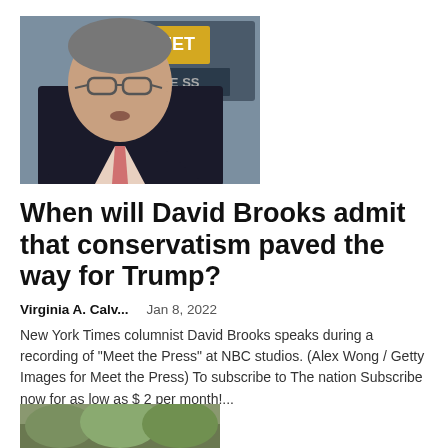[Figure (photo): Man in glasses and suit speaking, with 'MEET' sign/screen visible in background — New York Times columnist David Brooks at NBC studios for Meet the Press recording]
When will David Brooks admit that conservatism paved the way for Trump?
Virginia A. Calv...    Jan 8, 2022
New York Times columnist David Brooks speaks during a recording of "Meet the Press" at NBC studios. (Alex Wong / Getty Images for Meet the Press) To subscribe to The nation Subscribe now for as low as $ 2 per month!...
[Figure (photo): Partial photo visible at bottom of page — outdoor scene with greenery]